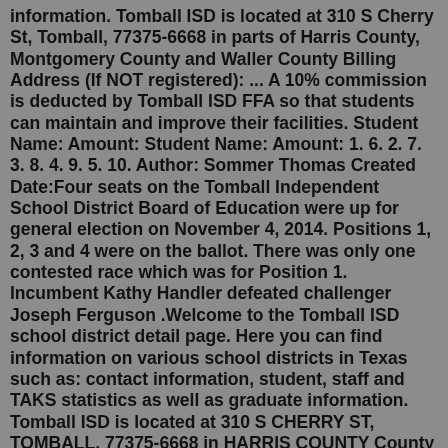information. Tomball ISD is located at 310 S Cherry St, Tomball, 77375-6668 in parts of Harris County, Montgomery County and Waller County Billing Address (If NOT registered): ... A 10% commission is deducted by Tomball ISD FFA so that students can maintain and improve their facilities. Student Name: Amount: Student Name: Amount: 1. 6. 2. 7. 3. 8. 4. 9. 5. 10. Author: Sommer Thomas Created Date:Four seats on the Tomball Independent School District Board of Education were up for general election on November 4, 2014. Positions 1, 2, 3 and 4 were on the ballot. There was only one contested race which was for Position 1. Incumbent Kathy Handler defeated challenger Joseph Ferguson .Welcome to the Tomball ISD school district detail page. Here you can find information on various school districts in Texas such as: contact information, student, staff and TAKS statistics as well as graduate information. Tomball ISD is located at 310 S CHERRY ST, TOMBALL, 77375-6668 in HARRIS COUNTY County . Welcome to the Tomball ISD school district detail page. Here